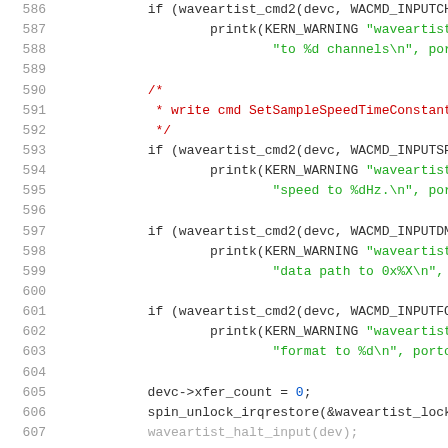Source code listing, lines 586-607, C kernel driver code for waveartist audio device
[Figure (screenshot): C source code snippet showing waveartist driver code lines 586-607, with syntax highlighting: line numbers in gray, keywords in dark, string literals in green, comments in red]